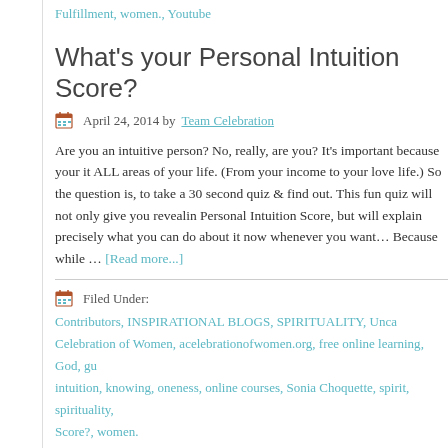Fulfillment, women., Youtube
What's your Personal Intuition Score?
April 24, 2014 by Team Celebration
Are you an intuitive person? No, really, are you? It's important because your it ALL areas of your life. (From your income to your love life.) So the question is, to take a 30 second quiz & find out. This fun quiz will not only give you revealin Personal Intuition Score, but will explain precisely what you can do about it now whenever you want… Because while … [Read more...]
Filed Under: Contributors, INSPIRATIONAL BLOGS, SPIRITUALITY, Unca Celebration of Women, acelebrationofwomen.org, free online learning, God, gu intuition, knowing, oneness, online courses, Sonia Choquette, spirit, spirituality Score?, women.
Jean Houston, Awakening To Your Life's Purpose
January 27, 2014 by Team Celebration
Dear Friend, Everywhere I go, people come up to me and tell me how profound changed by taking my Awakening To Your Life's Purpose 7-week Online Course nothing makes me happier than knowing that the course is helping people live t